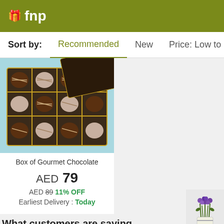fnp
Sort by:  Recommended  New  Price: Low to High  P...
[Figure (photo): Box of gourmet chocolates open showing rows of round truffles in a gold-divided dark box on a light blue background]
Box of Gourmet Chocolate
AED 79
AED 89 11% OFF
Earliest Delivery : Today
What customers are saying
[Figure (photo): Small thumbnail image of purple flowers bouquet]